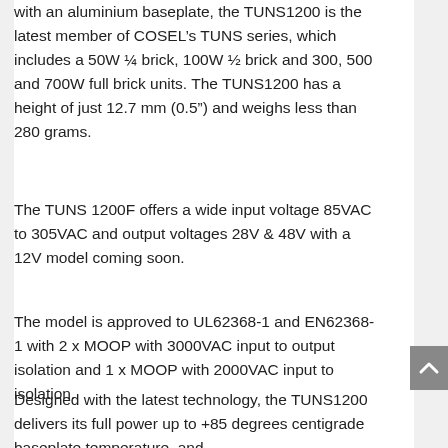with an aluminium baseplate, the TUNS1200 is the latest member of COSEL’s TUNS series, which includes a 50W ¼ brick, 100W ½ brick and 300, 500 and 700W full brick units. The TUNS1200 has a height of just 12.7 mm (0.5”) and weighs less than 280 grams.
The TUNS 1200F offers a wide input voltage 85VAC to 305VAC and output voltages 28V & 48V with a 12V model coming soon.
The model is approved to UL62368-1 and EN62368-1 with 2 x MOOP with 3000VAC input to output isolation and 1 x MOOP with 2000VAC input to isolation.
Designed with the latest technology, the TUNS1200 delivers its full power up to +85 degrees centigrade baseplate temperature, and